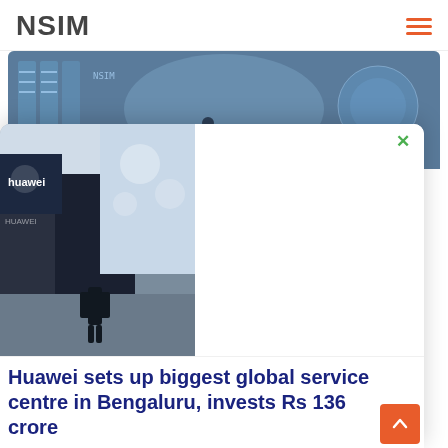NSIM
[Figure (photo): Data center or server room with blue-tinted lighting, showing server racks and person silhouette]
Database Administrators
July 6, 2019, 3:32 p.m.
[Figure (photo): Huawei exhibition/event booth with a person in black standing in front]
Huawei sets up biggest global service centre in Bengaluru, invests Rs 136 crore